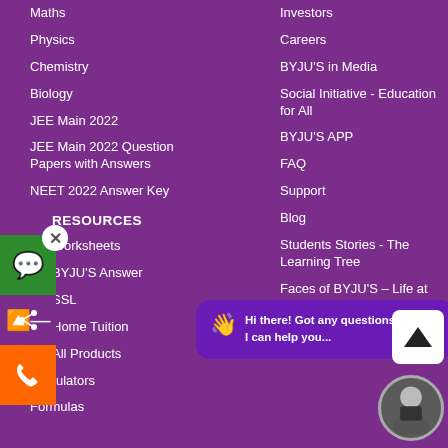Maths
Physics
Chemistry
Biology
JEE Main 2022
JEE Main 2022 Question Papers with Answers
NEET 2022 Answer Key
RESOURCES
Worksheets
BYJU'S Answer
SSL
Home Tuition
All Products
Calculators
Formulas
Investors
Careers
BYJU'S in Media
Social Initiative - Education for All
BYJU'S APP
FAQ
Support
Blog
Students Stories - The Learning Tree
Faces of BYJU'S – Life at
[Figure (screenshot): Chat bubble overlay: Hi there! Got any questions? I can help you...]
[Figure (photo): Avatar photo of a person in a suit]